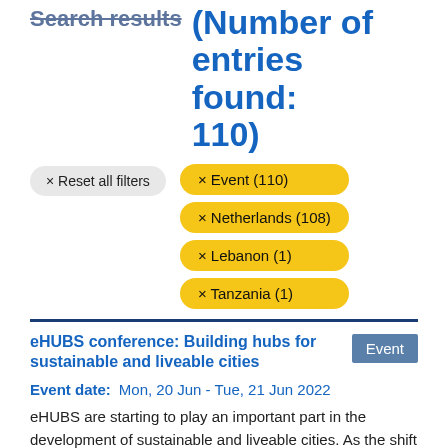Search results (Number of entries found: 110)
× Reset all filters
× Event (110)
× Netherlands (108)
× Lebanon (1)
× Tanzania (1)
eHUBS conference: Building hubs for sustainable and liveable cities
Event date:  Mon, 20 Jun - Tue, 21 Jun 2022
eHUBS are starting to play an important part in the development of sustainable and liveable cities. As the shift to more sustainable transport becomes